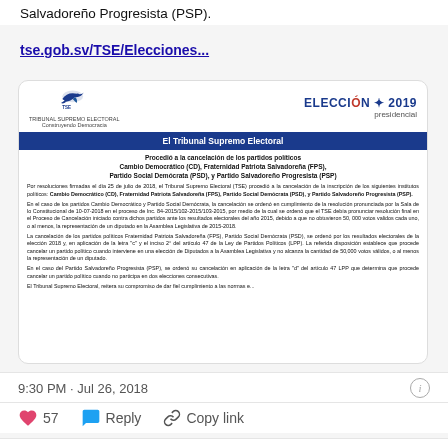Salvadoreño Progresista (PSP).
tse.gob.sv/TSE/Elecciones...
[Figure (screenshot): Screenshot of TSE (Tribunal Supremo Electoral) official announcement card for ELECCIÓN 2019 presidencial, announcing cancellation of political parties: Cambio Democrático (CD), Fraternidad Patriota Salvadoreña (FPS), Partido Social Demócrata (PSD), y Partido Salvadoreño Progresista (PSP).]
9:30 PM · Jul 26, 2018
57  Reply  Copy link